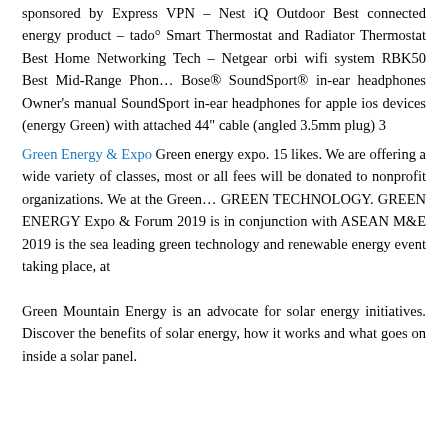sponsored by Express VPN – Nest iQ Outdoor Best connected energy product – tado° Smart Thermostat and Radiator Thermostat Best Home Networking Tech – Netgear orbi wifi system RBK50 Best Mid-Range Phon… Bose® SoundSport® in-ear headphones Owner's manual SoundSport in-ear headphones for apple ios devices (energy Green) with attached 44" cable (angled 3.5mm plug) 3
Green Energy & Expo Green energy expo. 15 likes. We are offering a wide variety of classes, most or all fees will be donated to nonprofit organizations. We at the Green… GREEN TECHNOLOGY. GREEN ENERGY Expo & Forum 2019 is in conjunction with ASEAN M&E 2019 is the sea leading green technology and renewable energy event taking place, at
Green Mountain Energy is an advocate for solar energy initiatives. Discover the benefits of solar energy, how it works and what goes on inside a solar panel.